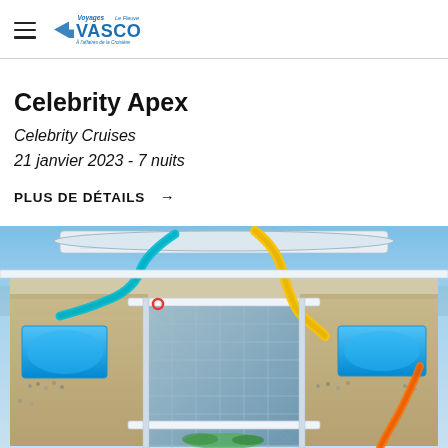Voyages Vasco Le Fleuve — À l'aise de la Croisière
Celebrity Apex
Celebrity Cruises
21 janvier 2023 - 7 nuits
PLUS DE DÉTAILS →
[Figure (photo): Aerial view of a large cruise ship deck with colorful water slides (teal and yellow), swimming pools, sundecks with passengers, and a glass-walled central atrium structure, photographed from above on a sunny day.]